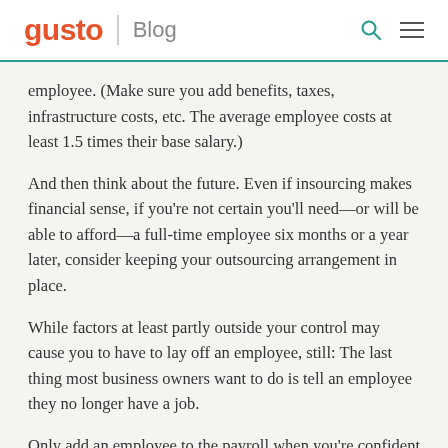gusto | Blog
employee. (Make sure you add benefits, taxes, infrastructure costs, etc. The average employee costs at least 1.5 times their base salary.)
And then think about the future. Even if insourcing makes financial sense, if you’re not certain you’ll need—or will be able to afford—a full-time employee six months or a year later, consider keeping your outsourcing arrangement in place.
While factors at least partly outside your control may cause you to have to lay off an employee, still: The last thing most business owners want to do is tell an employee they no longer have a job.
Only add an employee to the payroll when you’re confident that person will be able to stay on the